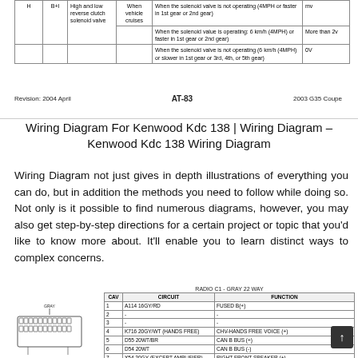[Figure (table-as-image): Partial automotive service manual table showing solenoid valve operating conditions and voltage outputs for high and low reverse clutch solenoid valve. Rows describe conditions: solenoid not operating (4MPH or faster in 1st or 2nd gear) = more than 2V; solenoid not operating (4MPH slower in 1st gear or 3rd, 4th, or 5th gear) = 0V.]
Revision: 2004 April    AT-83    2003 G35 Coupe
Wiring Diagram For Kenwood Kdc 138 | Wiring Diagram – Kenwood Kdc 138 Wiring Diagram
Wiring Diagram not just gives in depth illustrations of everything you can do, but in addition the methods you need to follow while doing so. Not only is it possible to find numerous diagrams, however, you may also get step-by-step directions for a certain project or topic that you'd like to know more about. It'll enable you to learn distinct ways to complex concerns.
[Figure (schematic): Wiring diagram page showing a gray 22-way radio connector diagram on the left (connector labeled GRAY) and a wiring table on the right titled RADIO C1 - GRAY 22 WAY with columns CAV, CIRCUIT, FUNCTION listing cavities 1-9 with wire colors and functions.]